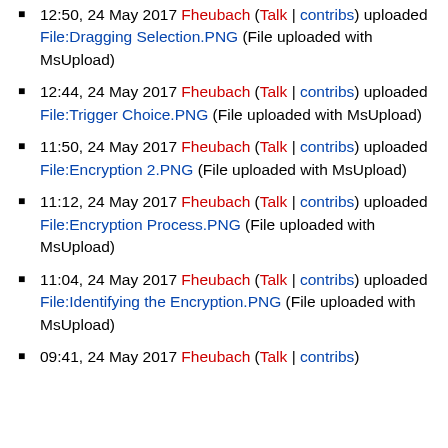12:50, 24 May 2017 Fheubach (Talk | contribs) uploaded File:Dragging Selection.PNG (File uploaded with MsUpload)
12:44, 24 May 2017 Fheubach (Talk | contribs) uploaded File:Trigger Choice.PNG (File uploaded with MsUpload)
11:50, 24 May 2017 Fheubach (Talk | contribs) uploaded File:Encryption 2.PNG (File uploaded with MsUpload)
11:12, 24 May 2017 Fheubach (Talk | contribs) uploaded File:Encryption Process.PNG (File uploaded with MsUpload)
11:04, 24 May 2017 Fheubach (Talk | contribs) uploaded File:Identifying the Encryption.PNG (File uploaded with MsUpload)
09:41, 24 May 2017 Fheubach (Talk | contribs)